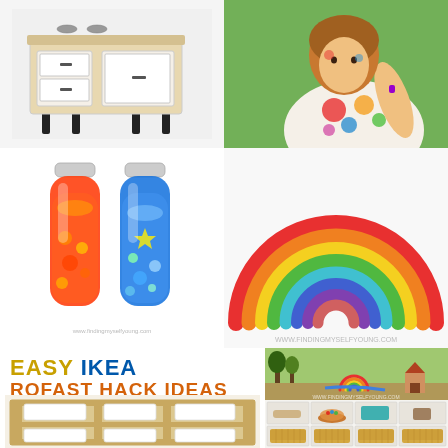[Figure (photo): IKEA children's play kitchen, wooden with white doors and dark handles, on dark legs]
[Figure (photo): Young child covered in colorful paint, wearing a floral dress, outdoors on grass]
[Figure (photo): Two sensory bottles - one filled with red liquid and orange beads, one with blue liquid and star-shaped confetti]
[Figure (photo): Rainbow wooden stacker toy with concentric arched pieces in rainbow colors on white background]
EASY IKEA TROFAST HACK IDEAS for kids room
[Figure (photo): IKEA TROFAST wooden storage unit with white bins/drawers in 2 rows of 3]
[Figure (photo): Nature table with rainbow stacker, small figurines, trees, fairy tale scene]
[Figure (photo): White shelving unit with wicker baskets and small decorative items in cubby holes]